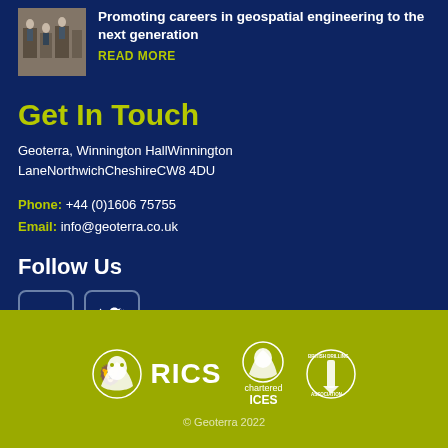[Figure (photo): Small thumbnail photo of an indoor exhibition or conference space]
Promoting careers in geospatial engineering to the next generation
READ MORE
Get In Touch
Geoterra, Winnington HallWinnington LaneNorthwichCheshireCW8 4DU
Phone: +44 (0)1606 75755
Email: info@geoterra.co.uk
Follow Us
[Figure (illustration): LinkedIn and Twitter social media icon buttons]
[Figure (logo): RICS logo, chartered ICES logo, British Drilling Association logo on olive/yellow-green background]
© Geoterra 2022